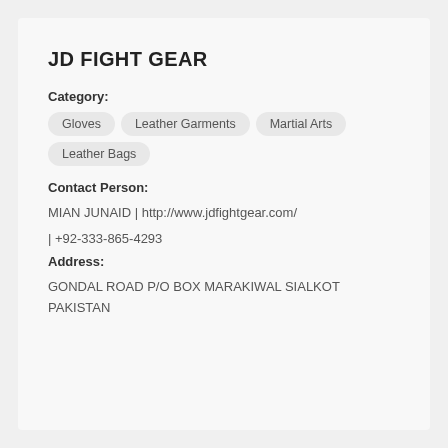JD FIGHT GEAR
Category:
Gloves
Leather Garments
Martial Arts
Leather Bags
Contact Person:
MIAN JUNAID | http://www.jdfightgear.com/
| +92-333-865-4293
Address:
GONDAL ROAD P/O BOX MARAKIWAL SIALKOT PAKISTAN